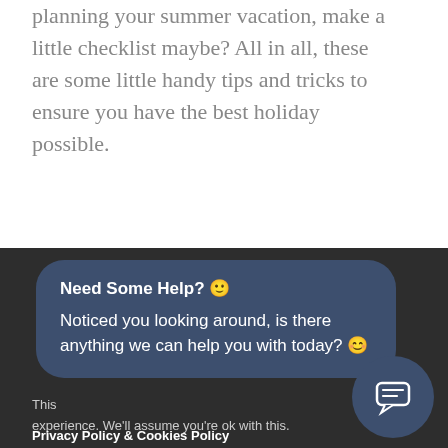planning your summer vacation, make a little checklist maybe? All in all, these are some little handy tips and tricks to ensure you have the best holiday possible.
[Figure (screenshot): A dark blue rounded chat popup widget with the heading 'Need Some Help? 🙂' and the message 'Noticed you looking around, is there anything we can help you with today? 😊']
This ... experience. We'll assume you're ok with this.
Privacy Policy & Cookies Policy